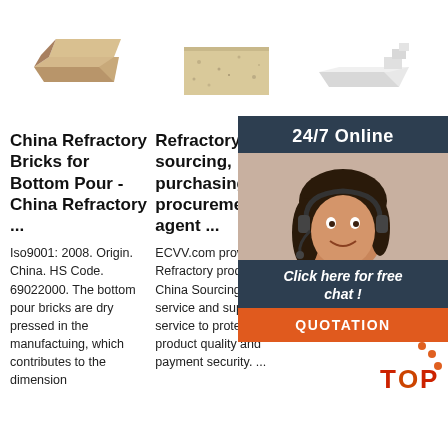[Figure (photo): Refractory brick (tan/brown) product photo]
[Figure (photo): Refractory brick (beige/speckled) product photo]
[Figure (photo): White refractory block/brick product photo]
China Refractory Bricks for Bottom Pour - China Refractory ...
Refractory sourcing, purchasing, procurement agent ...
Carbo RS K Refra Comp
Iso9001: 2008. Origin. China. HS Code. 69022000. The bottom pour bricks are dry pressed in the manufactuing, which contributes to the dimension
ECVV.com provides Refractory product China Sourcing Agent service and supply chain service to protect the product quality and payment security. ...
Carbon one ki refract produ high-temperature resistance performance, which is made with carbon as the main raw material mixed with proper
[Figure (photo): 24/7 Online chat widget with customer service agent photo, Click here for free chat button, and QUOTATION button]
[Figure (logo): TOP badge with orange dots and red/orange text]